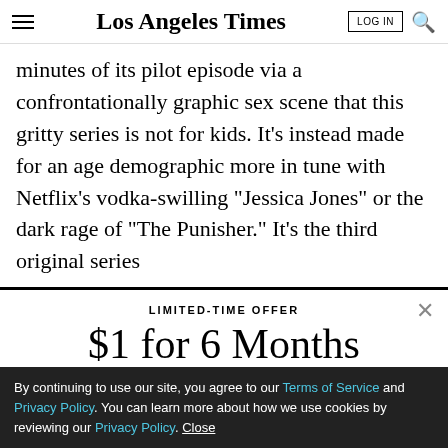Los Angeles Times
minutes of its pilot episode via a confrontationally graphic sex scene that this gritty series is not for kids. It’s instead made for an age demographic more in tune with Netflix’s vodka-swilling “Jessica Jones” or the dark rage of “The Punisher.” It’s the third original series
LIMITED-TIME OFFER
$1 for 6 Months
SUBSCRIBE NOW
By continuing to use our site, you agree to our Terms of Service and Privacy Policy. You can learn more about how we use cookies by reviewing our Privacy Policy. Close